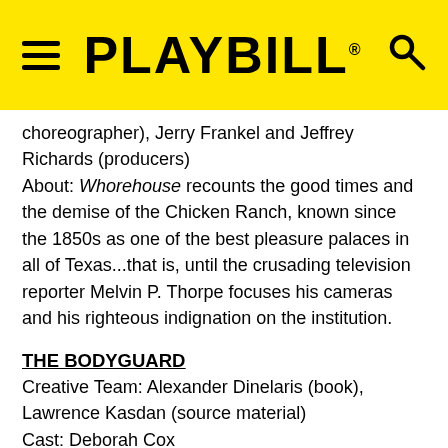PLAYBILL
choreographer), Jerry Frankel and Jeffrey Richards (producers)
About: Whorehouse recounts the good times and the demise of the Chicken Ranch, known since the 1850s as one of the best pleasure palaces in all of Texas...that is, until the crusading television reporter Melvin P. Thorpe focuses his cameras and his righteous indignation on the institution.
THE BODYGUARD
Creative Team: Alexander Dinelaris (book), Lawrence Kasdan (source material)
Cast: Deborah Cox
About: Musical adapted from the Whitney Houston film about a pop star who falls in love with her bodyguard.
Latest: Originally presented in London, the stage musical